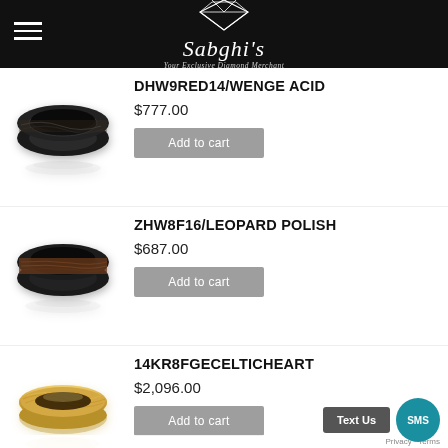Sabghi's — Your Exclusive Diamond Merchant
DHW9RED14/WENGE ACID
$777.00
Add to cart
ZHW8F16/LEOPARD POLISH
$687.00
Add to cart
14KR8FGECELTICHEART
$2,096.00
Add to cart
Privacy · Terms